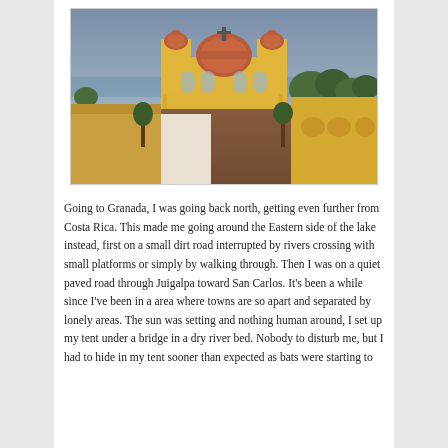[Figure (photo): Aerial view of Granada, Nicaragua showing a yellow colonial cathedral with red domes and twin bell towers, surrounded by terracotta-roofed buildings and tropical trees, with a body of water visible in the background under a grey-blue sky.]
Going to Granada, I was going back north, getting even further from Costa Rica. This made me going around the Eastern side of the lake instead, first on a small dirt road interrupted by rivers crossing with small platforms or simply by walking through. Then I was on a quiet paved road through Juigalpa toward San Carlos. It's been a while since I've been in a area where towns are so apart and separated by lonely areas. The sun was setting and nothing human around, I set up my tent under a bridge in a dry river bed. Nobody to disturb me, but I had to hide in my tent sooner than expected as bats were starting to